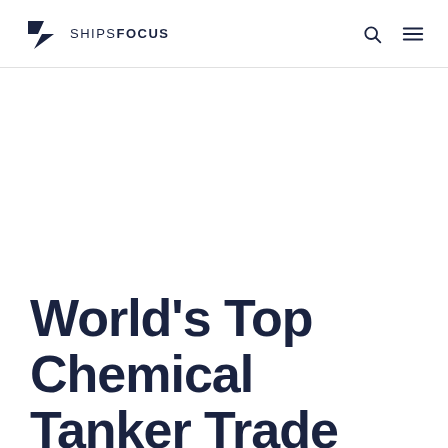SHIPS FOCUS
World's Top Chemical Tanker Trade